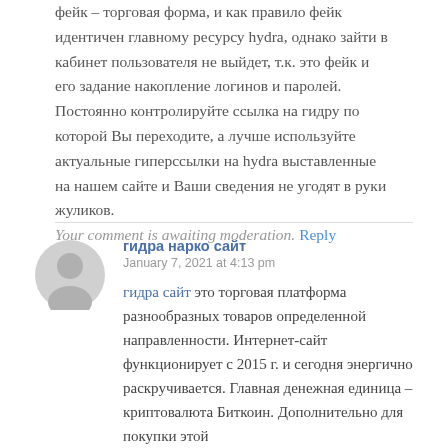фейк – торговая форма, и как правило фейк идентичен главному ресурсу hydra, однако зайти в кабинет пользователя не выйдет, т.к. это фейк и его задание накопление логинов и паролей. Постоянно контролируйте ссылка на гидру по которой Вы переходите, а лучше используйте актуальные гиперссылки на hydra выставленные на нашем сайте и Ваши сведения не угодят в руки жуликов.
Your comment is awaiting moderation. Reply
гидра нарко сайт
January 7, 2021 at 4:13 pm
гидра сайт это торговая платформа разнообразных товаров определенной направленности. Интернет-сайт функционирует с 2015 г. и сегодня энергично раскручивается. Главная денежная единица – криптовалюта Биткоин. Дополнительно для покупки этой